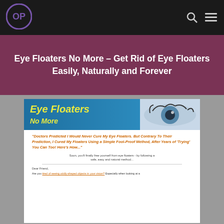[Figure (logo): Circular logo with OP letters in purple on dark background]
Eye Floaters No More – Get Rid of Eye Floaters Easily, Naturally and Forever
[Figure (screenshot): Screenshot of Eye Floaters No More product page with banner image showing eye floaters branding, a testimonial quote in orange bold italic text reading 'Doctors Predicted I Would Never Cure My Eye Floaters. But Contrary To Their Prediction, I Cured My Floaters Using a Simple Fool-Proof Method, After Years of Trying You Can Too! Here's How...' and subtext 'Soon, you'll finally free yourself from eye floaters - by following a safe, easy and natural method...' followed by 'Dear Friend,' and body text about being tired of seeing oddly-shaped objects in your vision.]